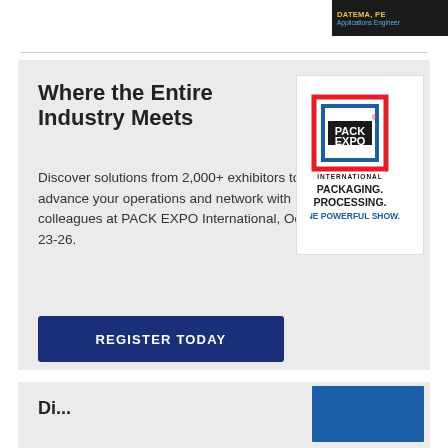[Figure (photo): Dark banner in top-right corner with text 'DATEMA, PE' in yellow and 'Applications Engineer' in blue]
Where the Entire Industry Meets
Discover solutions from 2,000+ exhibitors to advance your operations and network with colleagues at PACK EXPO International, Oct 23-26.
[Figure (logo): PACK EXPO International logo with red/blue square border design, text: PACKAGING. PROCESSING. ONE POWERFUL SHOW.]
REGISTER TODAY